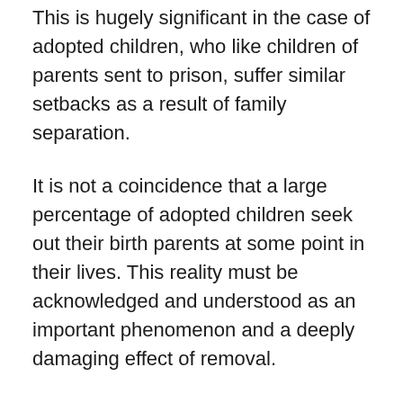This is hugely significant in the case of adopted children, who like children of parents sent to prison, suffer similar setbacks as a result of family separation.
It is not a coincidence that a large percentage of adopted children seek out their birth parents at some point in their lives. This reality must be acknowledged and understood as an important phenomenon and a deeply damaging effect of removal.
If children of parents who have committed crimes can be allowed to have contact with their parents, the same must be allowed for children who are removed from their families during child protection proceedings.
The myth that parents who have children taken from them inside the family courts are evil or without any love for their children also has to be addressed. In the ten years we